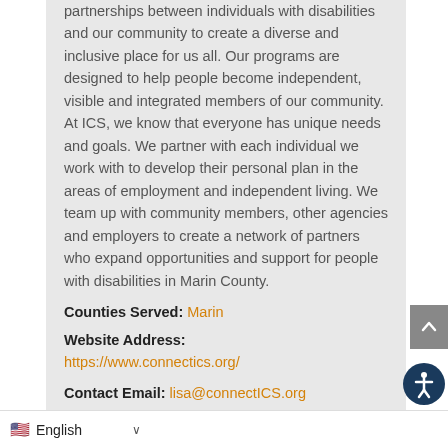partnerships between individuals with disabilities and our community to create a diverse and inclusive place for us all. Our programs are designed to help people become independent, visible and integrated members of our community. At ICS, we know that everyone has unique needs and goals. We partner with each individual we work with to develop their personal plan in the areas of employment and independent living. We team up with community members, other agencies and employers to create a network of partners who expand opportunities and support for people with disabilities in Marin County.
Counties Served: Marin
Website Address: https://www.connectics.org/
Contact Email: lisa@connectICS.org
English